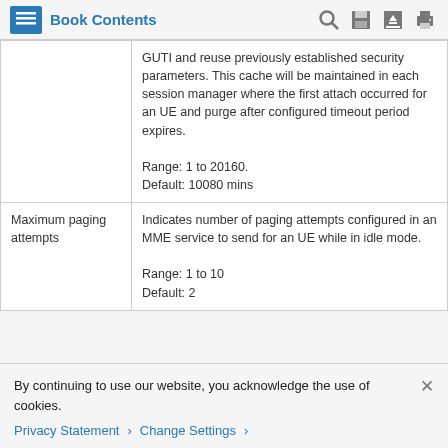Book Contents
|  |  |
| --- | --- |
|  | GUTI and reuse previously established security parameters. This cache will be maintained in each session manager where the first attach occurred for an UE and purge after configured timeout period expires.
Range: 1 to 20160.
Default: 10080 mins |
| Maximum paging attempts | Indicates number of paging attempts configured in an MME service to send for an UE while in idle mode.
Range: 1 to 10
Default: 2 |
By continuing to use our website, you acknowledge the use of cookies.
Privacy Statement > Change Settings >